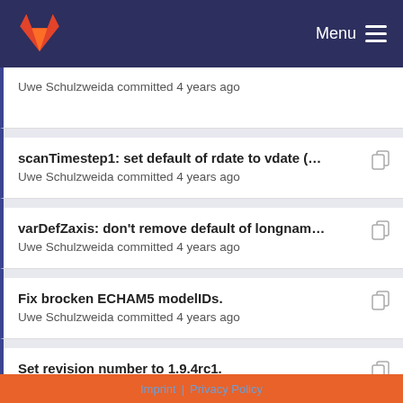Menu
Uwe Schulzweida committed 4 years ago
scanTimestep1: set default of rdate to vdate (bug f...
Uwe Schulzweida committed 4 years ago
varDefZaxis: don't remove default of longname an...
Uwe Schulzweida committed 4 years ago
Fix brocken ECHAM5 modelIDs.
Uwe Schulzweida committed 4 years ago
Set revision number to 1.9.4rc1.
Imprint | Privacy Policy